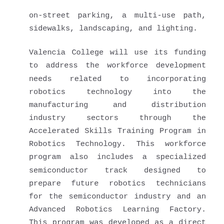on-street parking, a multi-use path, sidewalks, landscaping, and lighting.
Valencia College will use its funding to address the workforce development needs related to incorporating robotics technology into the manufacturing and distribution industry sectors through the Accelerated Skills Training Program in Robotics Technology. This workforce program also includes a specialized semiconductor track designed to prepare future robotics technicians for the semiconductor industry and an Advanced Robotics Learning Factory. This program was developed as a direct result of partnerships between Central Florida businesses and Valencia College.